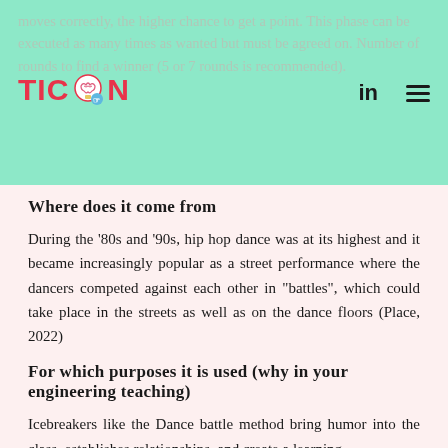moves correctly, the higher chance to get a point. This phase can be executed as many times as wanted but must be agreed on. Number of rounds to find a winner (5 or 7 rounds is recommended).
[Figure (logo): TICON logo with colorful brain icon in pink/red letters]
Where does it come from
During the '80s and '90s, hip hop dance was at its highest and it became increasingly popular as a street performance where the dancers competed against each other in "battles", which could take place in the streets as well as on the dance floors (Place, 2022)
For which purposes it is used (why in your engineering teaching)
Icebreakers like the Dance battle method bring humor into the class, establishes relationships, and create a learning